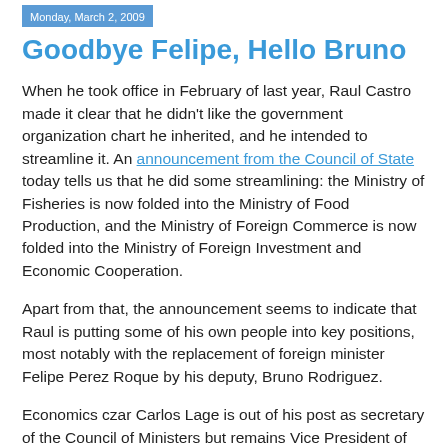Monday, March 2, 2009
Goodbye Felipe, Hello Bruno
When he took office in February of last year, Raul Castro made it clear that he didn't like the government organization chart he inherited, and he intended to streamline it. An announcement from the Council of State today tells us that he did some streamlining: the Ministry of Fisheries is now folded into the Ministry of Food Production, and the Ministry of Foreign Commerce is now folded into the Ministry of Foreign Investment and Economic Cooperation.
Apart from that, the announcement seems to indicate that Raul is putting some of his own people into key positions, most notably with the replacement of foreign minister Felipe Perez Roque by his deputy, Bruno Rodriguez.
Economics czar Carlos Lage is out of his post as secretary of the Council of Ministers but remains Vice President of the Council of State, which means that he keeps his more important job, the one that puts him in the line of succession.
Beyond that, the terse announcement gives no indication of